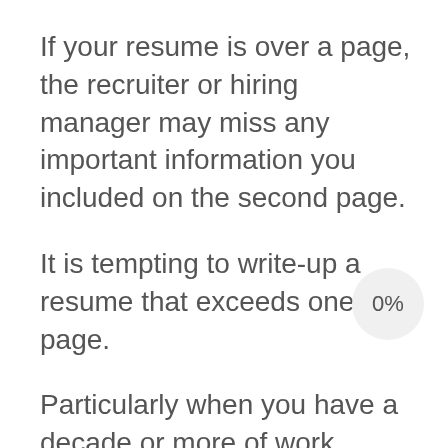If your resume is over a page, the recruiter or hiring manager may miss any important information you included on the second page.
It is tempting to write-up a resume that exceeds one-page.
Particularly when you have a decade or more of work experience.
In fact, it is very easy to write more than one p
That is why the one-page resume rule is so important.